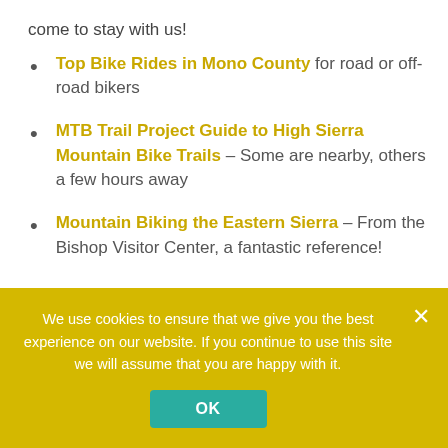come to stay with us!
Top Bike Rides in Mono County for road or off-road bikers
MTB Trail Project Guide to High Sierra Mountain Bike Trails – Some are nearby, others a few hours away
Mountain Biking the Eastern Sierra – From the Bishop Visitor Center, a fantastic reference!
We use cookies to ensure that we give you the best experience on our website. If you continue to use this site we will assume that you are happy with it.